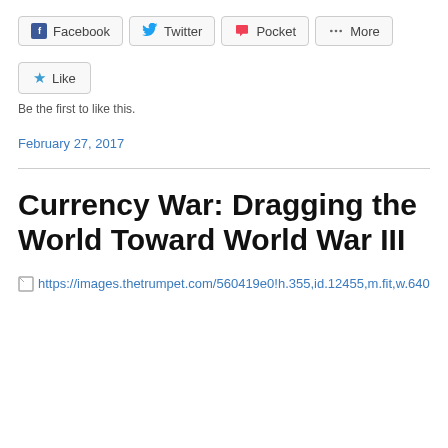[Figure (other): Social share buttons: Facebook, Twitter, Pocket, More]
[Figure (other): Like button with star icon]
Be the first to like this.
February 27, 2017
Currency War: Dragging the World Toward World War III
[Figure (other): Broken image link: https://images.thetrumpet.com/560419e0!h.355,id.12455,m.fit,w.640]